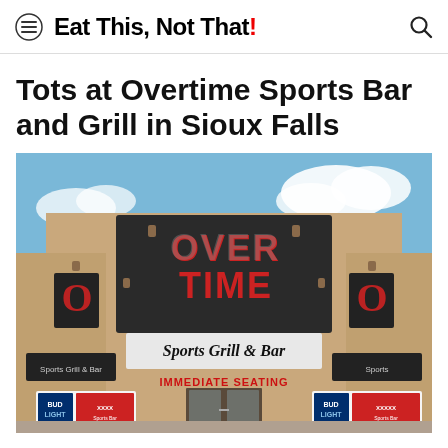Eat This, Not That!
Tots at Overtime Sports Bar and Grill in Sioux Falls
[Figure (photo): Exterior photo of Overtime Sports Grill & Bar in Sioux Falls, showing the building facade with a large sign reading 'OVERTIME Sports Grill & Bar' and an 'IMMEDIATE SEATING' sign. Blue sky with clouds visible, Bud Light advertisement banners visible at bottom corners.]